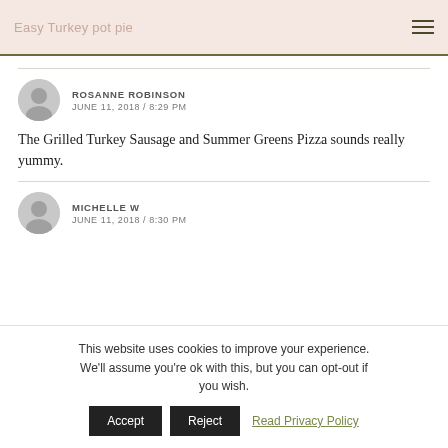Easy Turkey pot pie
ROSANNE ROBINSON
JUNE 11, 2018 / 8:29 PM
The Grilled Turkey Sausage and Summer Greens Pizza sounds really yummy.
MICHELLE W
JUNE 11, 2018 / 8:30 PM
This website uses cookies to improve your experience. We'll assume you're ok with this, but you can opt-out if you wish.  Accept  Reject  Read Privacy Policy